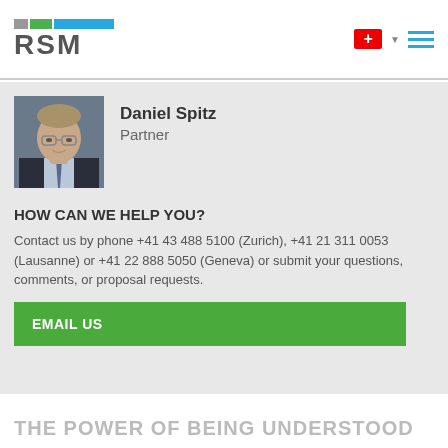RSM
[Figure (photo): Portrait photo of Daniel Spitz, a man in a dark suit with glasses, light blue shirt and striped tie, grey background.]
Daniel Spitz
Partner
HOW CAN WE HELP YOU?
Contact us by phone +41 43 488 5100 (Zurich), +41 21 311 0053 (Lausanne) or +41 22 888 5050 (Geneva) or submit your questions, comments, or proposal requests.
EMAIL US
THE POWER OF BEING UNDERSTOOD